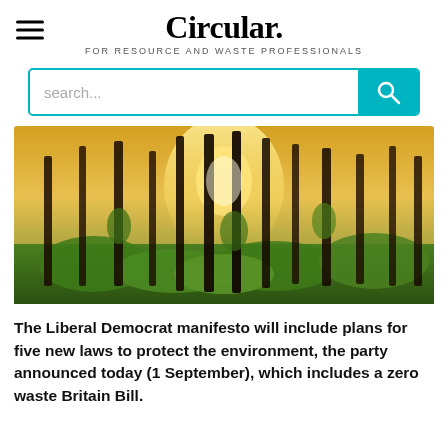Circular. FOR RESOURCE AND WASTE PROFESSIONALS
[Figure (screenshot): Search bar with teal/cyan background search button and magnifying glass icon]
[Figure (photo): Sunlit forest with tall pine trees and green undergrowth, light filtering through the trees]
The Liberal Democrat manifesto will include plans for five new laws to protect the environment, the party announced today (1 September), which includes a zero waste Britain Bill.